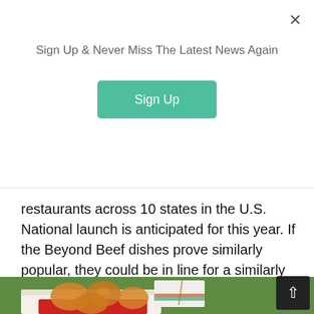Sign Up & Never Miss The Latest News Again
Sign Up
restaurants across 10 states in the U.S. National launch is anticipated for this year. If the Beyond Beef dishes prove similarly popular, they could be in line for a similarly extended launch.
[Figure (photo): A Panda Express takeout box filled with Beyond Meat orange chicken pieces, with a Panda Express × Beyond Meat branded toothpick flag inserted, set against a green leafy background.]